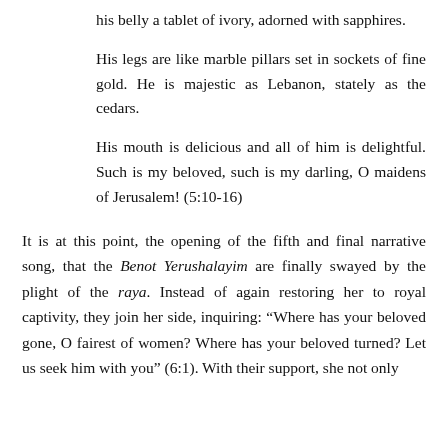his belly a tablet of ivory, adorned with sapphires.
His legs are like marble pillars set in sockets of fine gold. He is majestic as Lebanon, stately as the cedars.
His mouth is delicious and all of him is delightful. Such is my beloved, such is my darling, O maidens of Jerusalem! (5:10-16)
It is at this point, the opening of the fifth and final narrative song, that the Benot Yerushalayim are finally swayed by the plight of the raya. Instead of again restoring her to royal captivity, they join her side, inquiring: “Where has your beloved gone, O fairest of women? Where has your beloved turned? Let us seek him with you” (6:1). With their support, she not only